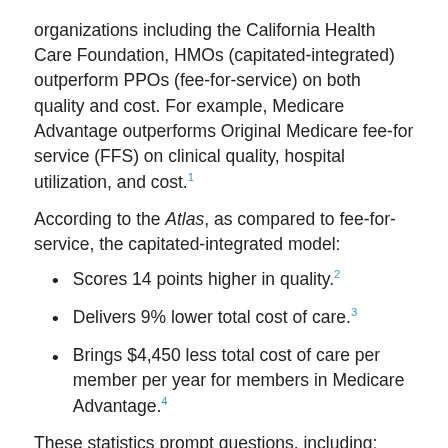organizations including the California Health Care Foundation, HMOs (capitated-integrated) outperform PPOs (fee-for-service) on both quality and cost. For example, Medicare Advantage outperforms Original Medicare fee-for service (FFS) on clinical quality, hospital utilization, and cost.[1]
According to the Atlas, as compared to fee-for-service, the capitated-integrated model:
Scores 14 points higher in quality.[2]
Delivers 9% lower total cost of care.[3]
Brings $4,450 less total cost of care per member per year for members in Medicare Advantage.[4]
These statistics prompt questions, including:
Is it ethical for employers and governments to knowingly provide lower quality products?